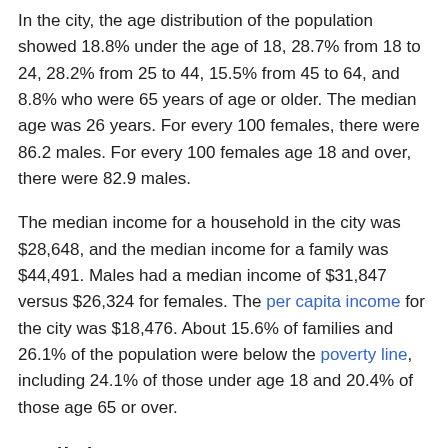In the city, the age distribution of the population showed 18.8% under the age of 18, 28.7% from 18 to 24, 28.2% from 25 to 44, 15.5% from 45 to 64, and 8.8% who were 65 years of age or older. The median age was 26 years. For every 100 females, there were 86.2 males. For every 100 females age 18 and over, there were 82.9 males.
The median income for a household in the city was $28,648, and the median income for a family was $44,491. Males had a median income of $31,847 versus $26,324 for females. The per capita income for the city was $18,476. About 15.6% of families and 26.1% of the population were below the poverty line, including 24.1% of those under age 18 and 20.4% of those age 65 or over.
Religion